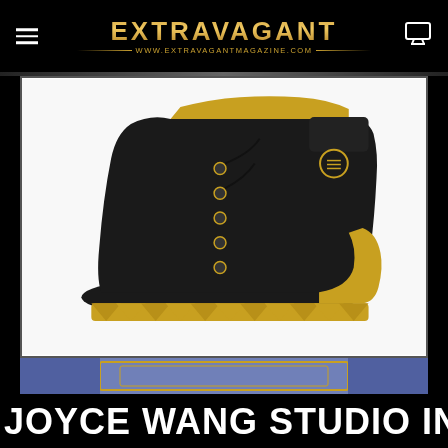EXTRAVAGANT — www.extravagantmagazine.com
[Figure (photo): Black leather lace-up boot with gold metallic sole and heel detail, shown in profile on white background]
[Figure (photo): Partial photo with decorative frame/border design in purple-blue and gold tones]
JOYCE WANG STUDIO INSPIRAT